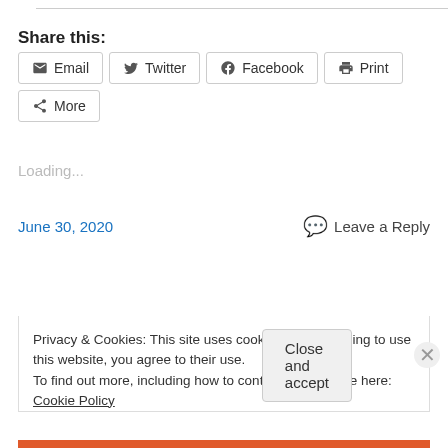Share this:
Email  Twitter  Facebook  Print  More
Loading...
June 30, 2020
Leave a Reply
Older posts
Privacy & Cookies: This site uses cookies. By continuing to use this website, you agree to their use.
To find out more, including how to control cookies, see here: Cookie Policy
Close and accept